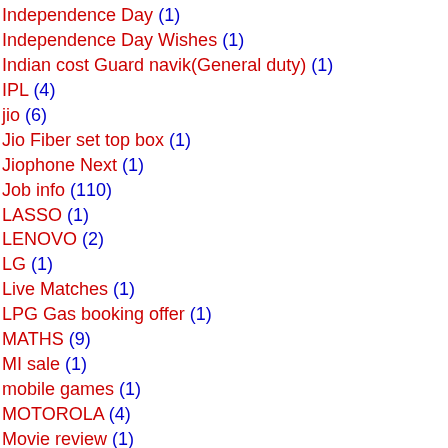Independence Day (1)
Independence Day Wishes (1)
Indian cost Guard navik(General duty) (1)
IPL (4)
jio (6)
Jio Fiber set top box (1)
Jiophone Next (1)
Job info (110)
LASSO (1)
LENOVO (2)
LG (1)
Live Matches (1)
LPG Gas booking offer (1)
MATHS (9)
MI sale (1)
mobile games (1)
MOTOROLA (4)
Movie review (1)
Name style (11)